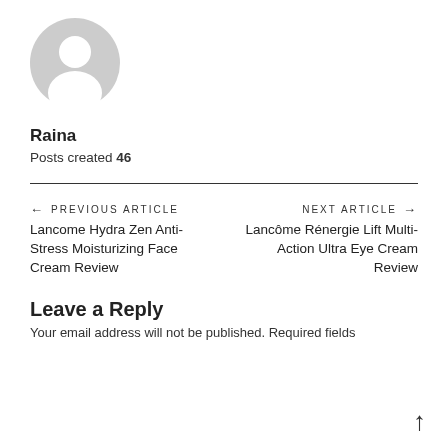[Figure (illustration): Gray circular avatar/profile placeholder icon showing a silhouette of a person]
Raina
Posts created 46
← PREVIOUS ARTICLE
Lancome Hydra Zen Anti-Stress Moisturizing Face Cream Review
NEXT ARTICLE →
Lancôme Rénergie Lift Multi-Action Ultra Eye Cream Review
Leave a Reply
Your email address will not be published. Required fields